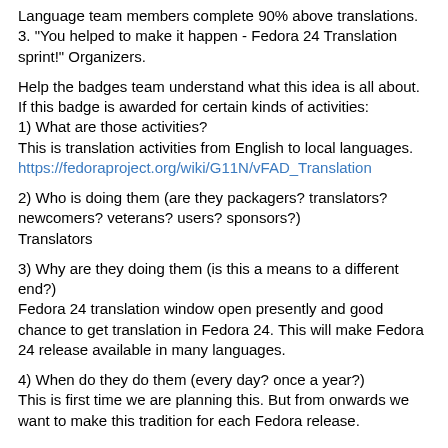Language team members complete 90% above translations.
3. "You helped to make it happen - Fedora 24 Translation sprint!" Organizers.
Help the badges team understand what this idea is all about. If this badge is awarded for certain kinds of activities:
1) What are those activities?
This is translation activities from English to local languages.
https://fedoraproject.org/wiki/G11N/vFAD_Translation
2) Who is doing them (are they packagers? translators? newcomers? veterans? users? sponsors?)
Translators
3) Why are they doing them (is this a means to a different end?)
Fedora 24 translation window open presently and good chance to get translation in Fedora 24. This will make Fedora 24 release available in many languages.
4) When do they do them (every day? once a year?)
This is first time we are planning this. But from onwards we want to make this tradition for each Fedora release.